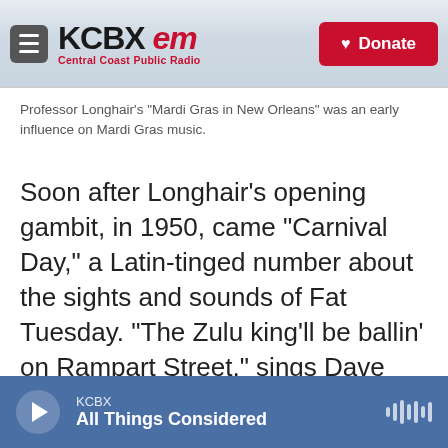KCBX FM Central Coast Public Radio | Donate
Professor Longhair's "Mardi Gras in New Orleans" was an early influence on Mardi Gras music.
Soon after Longhair's opening gambit, in 1950, came "Carnival Day," a Latin-tinged number about the sights and sounds of Fat Tuesday. "The Zulu king'll be ballin' on Rampart Street," sings Dave Bartholomew, the prolific bandleader, songwriter, producer and arranger responsible for many hits of 1950s–'60s rhythm and blues. "Carnival Day" was one of Bartholomew's first recordings, made when he had just begun his legendary collaboration with Fats Domino. With clave accents, electric guitar fills
KCBX | All Things Considered